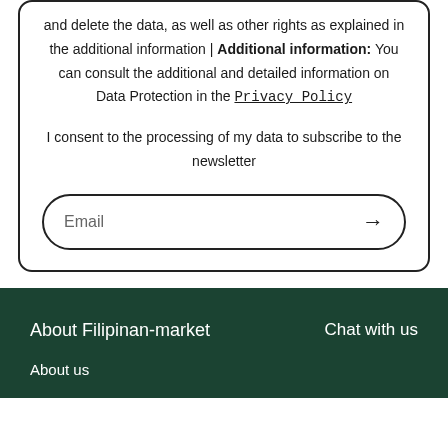and delete the data, as well as other rights as explained in the additional information | Additional information: You can consult the additional and detailed information on Data Protection in the Privacy Policy
I consent to the processing of my data to subscribe to the newsletter
Email
About Filipinan-market
Chat with us
About us